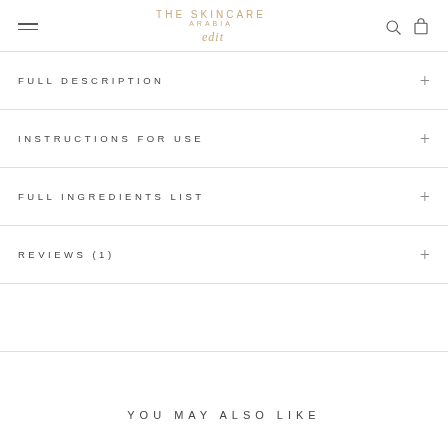THE SKINCARE ARABIA edit
FULL DESCRIPTION
INSTRUCTIONS FOR USE
FULL INGREDIENTS LIST
REVIEWS (1)
YOU MAY ALSO LIKE